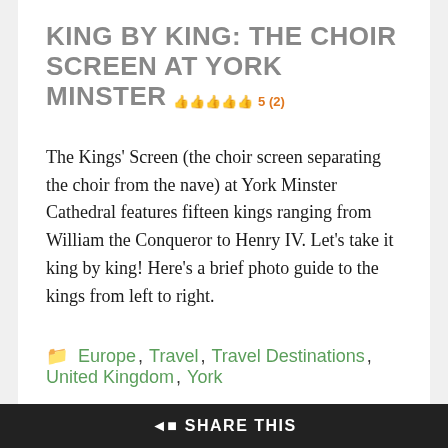KING BY KING: THE CHOIR SCREEN AT YORK MINSTER ★★★★★ 5 (2)
The Kings' Screen (the choir screen separating the choir from the nave) at York Minster Cathedral features fifteen kings ranging from William the Conqueror to Henry IV. Let's take it king by king! Here's a brief photo guide to the kings from left to right.
Europe, Travel, Travel Destinations, United Kingdom, York
SHARE THIS